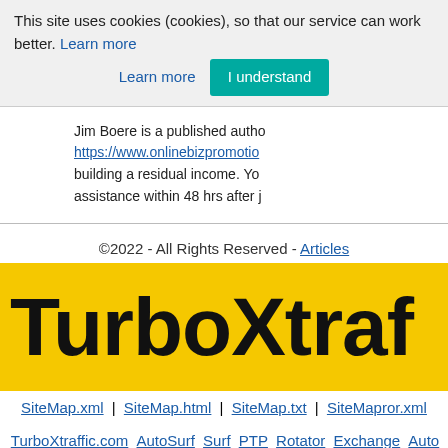This site uses cookies (cookies), so that our service can work better. Learn more  I understand
Jim Boere is a published autho... https://www.onlinebizpromotio... building a residual income. Yo... assistance within 48 hrs after j...
©2022 - All Rights Reserved - Articles
[Figure (logo): TurboXtraffic logo — yellow background with large bold black text reading TurboXtraf (truncated)]
SiteMap.xml  SiteMap.html  SiteMap.txt  SiteMapror.xml
TurboXtraffic.com  AutoSurf  Surf  PTP  Rotator  Exchange  Auto Surf  Web Traffic  Ads  Free Visits  Traffic Websites